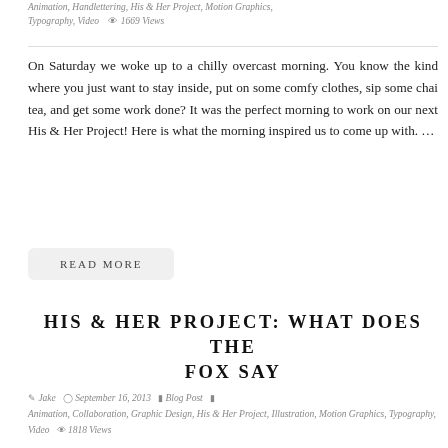Animation, Handlettering, His & Her Project, Motion Graphics, Typography, Video   1669 Views
On Saturday we woke up to a chilly overcast morning. You know the kind where you just want to stay inside, put on some comfy clothes, sip some chai tea, and get some work done? It was the perfect morning to work on our next His & Her Project! Here is what the morning inspired us to come up with. …
READ MORE
HIS & HER PROJECT: WHAT DOES THE FOX SAY
Jake   September 16, 2013   Blog Post   Animation, Collaboration, Graphic Design, His & Her Project, Illustration, Motion Graphics, Typography, Video   1818 Views